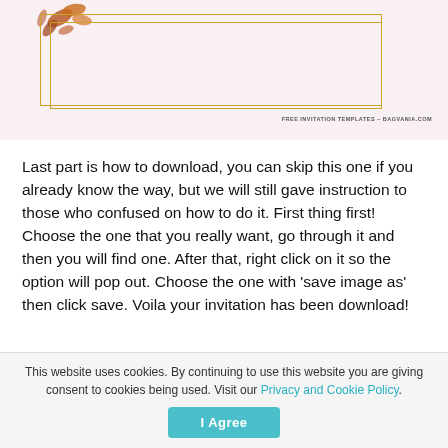[Figure (illustration): Invitation card template with gold geometric rectangle border on pink background, floral decoration (brown/orange leaves) at top left, and watermark text 'FREE INVITATION TEMPLATES - BAGVANIA.COM' at bottom right]
Last part is how to download, you can skip this one if you already know the way, but we will still gave instruction to those who confused on how to do it. First thing first! Choose the one that you really want, go through it and then you will find one. After that, right click on it so the option will pop out. Choose the one with 'save image as' then click save. Voila your invitation has been download!
This website uses cookies. By continuing to use this website you are giving consent to cookies being used. Visit our Privacy and Cookie Policy.